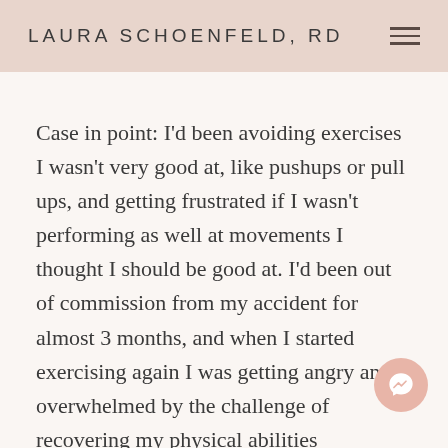LAURA SCHOENFELD, RD
Case in point: I'd been avoiding exercises I wasn't very good at, like pushups or pull ups, and getting frustrated if I wasn't performing as well at movements I thought I should be good at. I'd been out of commission from my accident for almost 3 months, and when I started exercising again I was getting angry and overwhelmed by the challenge of recovering my physical abilities